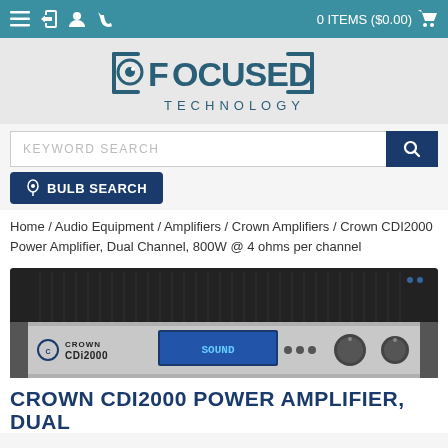0 ITEMS ($0.00)
[Figure (logo): Focused Technology logo with stylized eye/lens icon and text FOCUSED TECHNOLOGY]
KEYWORD SEARCH
BULB SEARCH
Home / Audio Equipment / Amplifiers / Crown Amplifiers / Crown CDI2000 Power Amplifier, Dual Channel, 800W @ 4 ohms per channel
[Figure (photo): Crown CDI2000 Power Amplifier, a black rack-mounted dual channel audio power amplifier unit with digital display and control knobs on the front panel]
CROWN CDI2000 POWER AMPLIFIER, DUAL